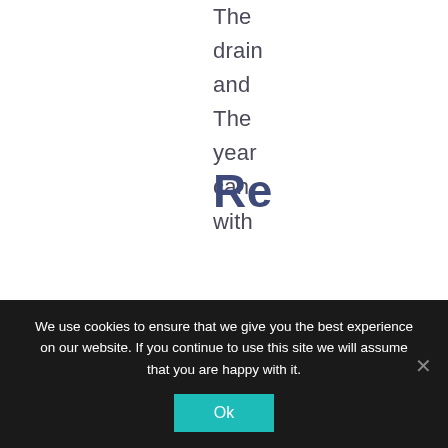The drain and The year can with
Re
We use cookies to ensure that we give you the best experience on our website. If you continue to use this site we will assume that you are happy with it.